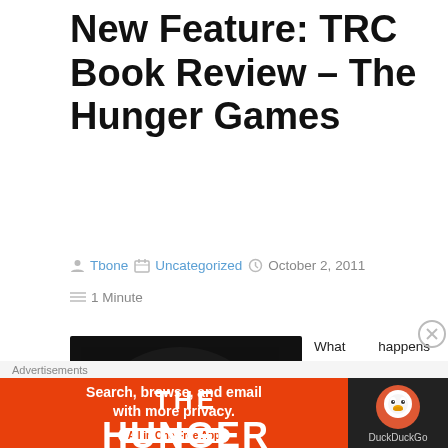New Feature: TRC Book Review – The Hunger Games
Tbone   Uncategorized   October 2, 2011
1 Minute
[Figure (photo): Book cover of The Hunger Games showing white bold text on black background with a mockingjay emblem]
What happens when our own need for entertainment outstrips our ability to make good decisions? In a
Advertisements
[Figure (screenshot): DuckDuckGo advertisement banner: Search, browse, and email with more privacy. All in One Free App]